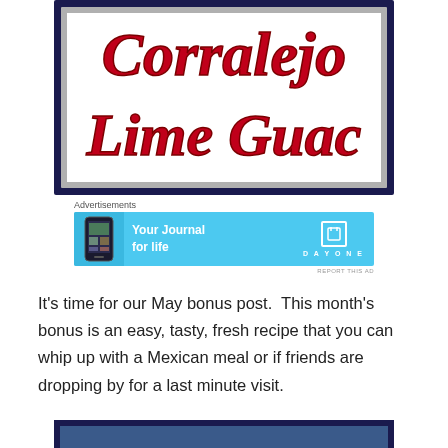[Figure (illustration): Decorative sign image showing 'Corralejo Lime Guac' in large red cursive/script lettering on a white background with a dark navy border frame]
Advertisements
[Figure (other): Advertisement banner for Day One app - 'Your Journal for life' on a light blue background with phone image and Day One logo]
REPORT THIS AD
It’s time for our May bonus post.  This month’s bonus is an easy, tasty, fresh recipe that you can whip up with a Mexican meal or if friends are dropping by for a last minute visit.
[Figure (other): Partial bottom image strip, appears to be a dark-bordered image, content cut off]